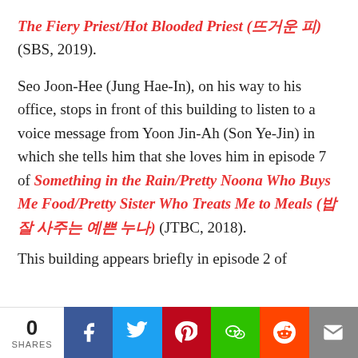The Fiery Priest/Hot Blooded Priest (뜨거운 피) (SBS, 2019).
Seo Joon-Hee (Jung Hae-In), on his way to his office, stops in front of this building to listen to a voice message from Yoon Jin-Ah (Son Ye-Jin) in which she tells him that she loves him in episode 7 of Something in the Rain/Pretty Noona Who Buys Me Food/Pretty Sister Who Treats Me to Meals (밥 잘 사주는 예쁜 누나) (JTBC, 2018).
This building appears briefly in episode 2 of